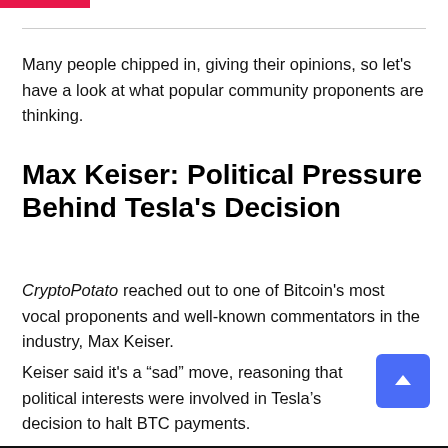Many people chipped in, giving their opinions, so let's have a look at what popular community proponents are thinking.
Max Keiser: Political Pressure Behind Tesla's Decision
CryptoPotato reached out to one of Bitcoin's most vocal proponents and well-known commentators in the industry, Max Keiser.
Keiser said it's a “sad” move, reasoning that political interests were involved in Tesla’s decision to halt BTC payments.